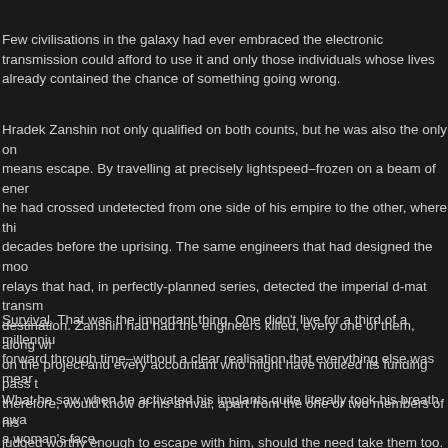Few civilisations in the galaxy had ever embraced the electronic transmission could afford to use it and only those individuals whose lives already contained the chance of something going wrong.
Hradek Zanshin not only qualified on both counts, but he was also the only one means escape. By travelling at precisely lightspeed–frozen on a beam of ener he had crossed undetected from one side of his empire to the other, where this decades before the uprising. The same engineers that had designed the moo relays that had, in perfectly-planned series, detected the imperial d-mat transm destination. Zanshin had had the engineers killed, every one of them, along wi on the project and every accountant who might have noticed its funding pass t therefore, would know of his arrival, apart from the one or two members of his judged worthy enough to escape with him, should the need take them too. Afte a further two centuries hoping not to require it, he was glad now that he had n would be suspected.
Survival. That was the important thing. One didn't live for a third of a millenniu forward through time–without a clear realisation that everything else was mear
What he saw when he activated his implants quite literally took his breath awa a woman's face.